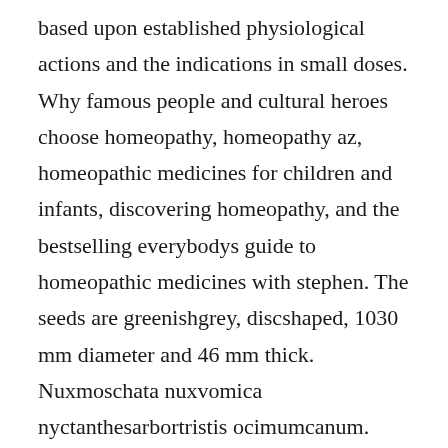based upon established physiological actions and the indications in small doses. Why famous people and cultural heroes choose homeopathy, homeopathy az, homeopathic medicines for children and infants, discovering homeopathy, and the bestselling everybodys guide to homeopathic medicines with stephen. The seeds are greenishgrey, discshaped, 1030 mm diameter and 46 mm thick. Nuxmoschata nuxvomica nyctanthesarbortristis ocimumcanum. Ernest albert farrington lectures on clinical materia medica reading excerpt lectures on clinical